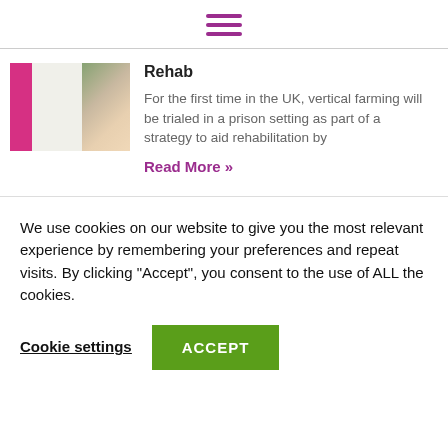[Figure (other): Hamburger menu icon with three horizontal purple/magenta lines]
[Figure (photo): Outdoor photo showing a pink/magenta vertical banner and trees in background]
Rehab
For the first time in the UK, vertical farming will be trialed in a prison setting as part of a strategy to aid rehabilitation by
Read More »
We use cookies on our website to give you the most relevant experience by remembering your preferences and repeat visits. By clicking “Accept”, you consent to the use of ALL the cookies.
Cookie settings
ACCEPT